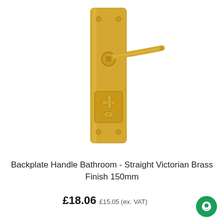[Figure (photo): A brass door handle backplate set with a straight lever handle and a thumb turn/snib lock mechanism, Victorian style, in a polished brass finish, shown on a white background.]
Backplate Handle Bathroom - Straight Victorian Brass Finish 150mm
£18.06 £15.05 (ex. VAT)
Out of stock